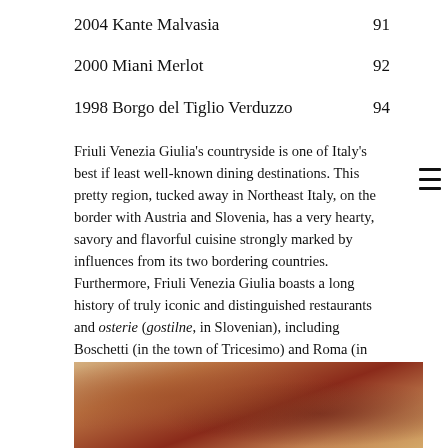2004 Kante Malvasia   91
2000 Miani Merlot   92
1998 Borgo del Tiglio Verduzzo   94
Friuli Venezia Giulia's countryside is one of Italy's best if least well-known dining destinations. This pretty region, tucked away in Northeast Italy, on the border with Austria and Slovenia, has a very hearty, savory and flavorful cuisine strongly marked by influences from its two bordering countries. Furthermore, Friuli Venezia Giulia boasts a long history of truly iconic and distinguished restaurants and osterie (gostilne, in Slovenian), including Boschetti (in the town of Tricesimo) and Roma (in Tolmezzo). Unfortunately neither one is still around, but both are an important part of Italian culinary history and are fondly remembered by all those who love good food and wine. Today, that tradition is being carried on by the likes of the Gostilna Devetak (soon to be reviewed in Vinous Table) and La Subida, true Italian countryside trattoria benchmarks.
[Figure (photo): A close-up photo of food items on a warm-toned background, appears to show meat or produce with russet and brown tones.]